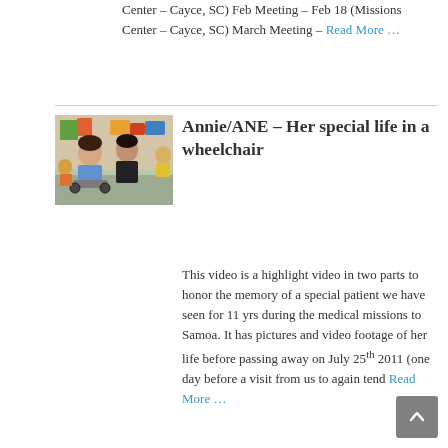Center – Cayce, SC) Feb Meeting – Feb 18 (Missions Center – Cayce, SC) March Meeting – Read More …
[Figure (photo): Photo of two people sitting together, likely at a medical mission event, colorful background]
Annie/ANE – Her special life in a wheelchair
This video is a highlight video in two parts to honor the memory of a special patient we have seen for 11 yrs during the medical missions to Samoa. It has pictures and video footage of her life before passing away on July 25th 2011 (one day before a visit from us to again tend Read More …